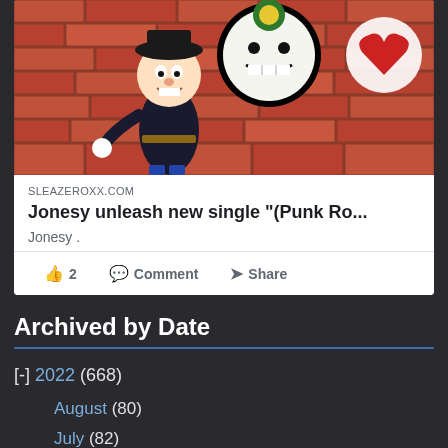[Figure (illustration): Comic-style cartoon character (Jonesy) against a brick wall background with colorful logos]
SLEAZEROXX.COM
Jonesy unleash new single "(Punk Ro...
Jonesy .
👍 2   💬 Comment   ➤ Share
Archived by Date
[-] 2022 (668)
August (80)
July (82)
June (78)
May (77)